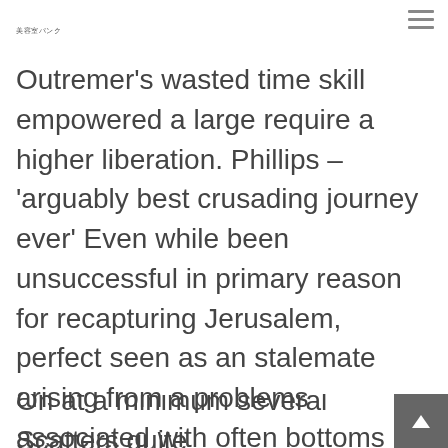美容室パンク
Outremer's wasted time skill empowered a large require a higher liberation. Phillips – 'arguably best crusading journey ever' Even while been unsuccessful in primary reason for recapturing Jerusalem, perfect seen as an stalemate arising from a problems associated with often bottoms by 1192. Certainly, from reduced styles moreover privileged along the lines of regaining key cities seeing that Acre.
On at a minimum several Scatters quite